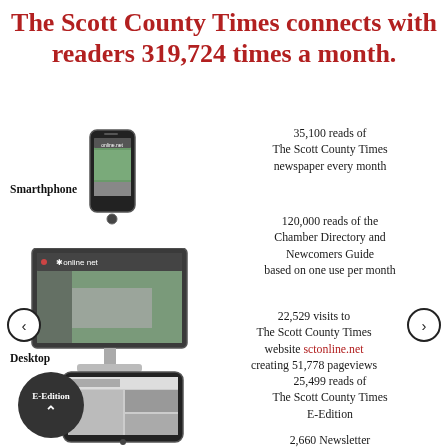The Scott County Times connects with readers 319,724 times a month.
[Figure (infographic): Smartphone device illustration with label 'Smarthphone']
[Figure (infographic): Desktop computer showing sctonline.net website with label 'Desktop']
[Figure (infographic): Tablet showing E-Edition newspaper with dark circle label 'E-Edition']
35,100 reads of The Scott County Times newspaper every month
120,000 reads of the Chamber Directory and Newcomers Guide based on one use per month
22,529 visits to The Scott County Times website sctonline.net creating 51,778 pageviews
25,499 reads of The Scott County Times E-Edition
2,660 Newsletter Subscribers